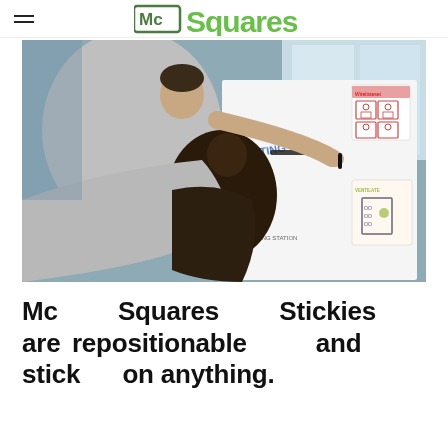[Figure (photo): Two people collaborating at a whiteboard covered with sticky notes, sketches, and UI wireframes. One person is writing on the board with a marker.]
Mc Squares Stickies are repositionable and stick on anything.